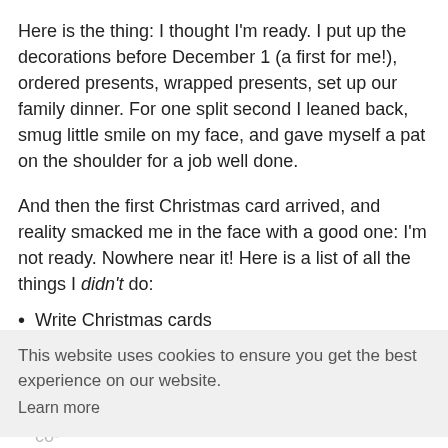Here is the thing: I thought I'm ready. I put up the decorations before December 1 (a first for me!), ordered presents, wrapped presents, set up our family dinner. For one split second I leaned back, smug little smile on my face, and gave myself a pat on the shoulder for a job well done.
And then the first Christmas card arrived, and reality smacked me in the face with a good one: I'm not ready. Nowhere near it! Here is a list of all the things I didn't do:
Write Christmas cards
Send out our annual Christmas email
Bake cookies
Bring said cookies into work and share with my co-
Listen to Christmas carols
Drink mulled wine
Drink eggnogg
Wear Christmas sweaters and/or jewellery
This website uses cookies to ensure you get the best experience on our website.
Learn more
Got it!